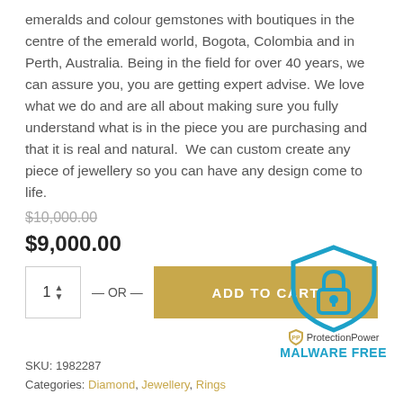emeralds and colour gemstones with boutiques in the centre of the emerald world, Bogota, Colombia and in Perth, Australia. Being in the field for over 40 years, we can assure you, you are getting expert advise. We love what we do and are all about making sure you fully understand what is in the piece you are purchasing and that it is real and natural.  We can custom create any piece of jewellery so you can have any design come to life.
$10,000.00
$9,000.00
[Figure (other): Add to Cart button with quantity selector, OR text, and ProtectionPower MALWARE FREE badge with shield icon]
SKU: 1982287
Categories: Diamond, Jewellery, Rings